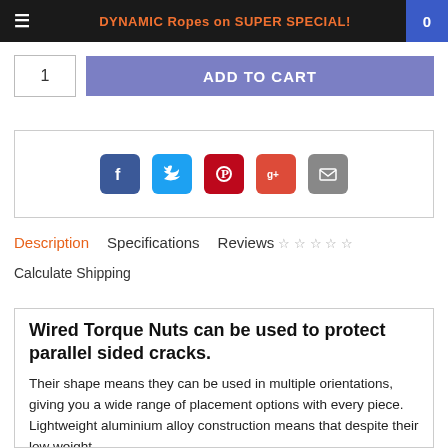DYNAMIC Ropes on SUPER SPECIAL!
[Figure (screenshot): Add to cart button with quantity box showing '1' and a purple 'ADD TO CART' button]
[Figure (infographic): Social share icons: Facebook (blue), Twitter (cyan), Pinterest (red), Google+ (red-orange), Email (grey)]
Description   Specifications   Reviews ☆☆☆☆☆
Calculate Shipping
Wired Torque Nuts can be used to protect parallel sided cracks.
Their shape means they can be used in multiple orientations, giving you a wide range of placement options with every piece. Lightweight aluminium alloy construction means that despite their low weight,